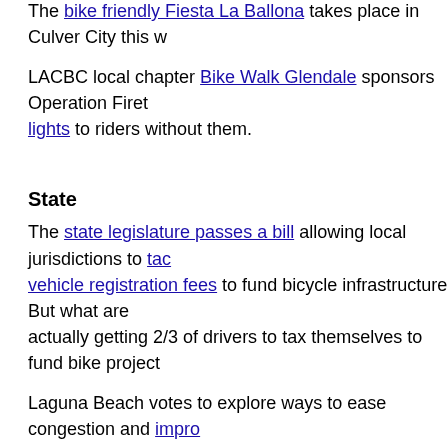The bike friendly Fiesta La Ballona takes place in Culver City this w
LACBC local chapter Bike Walk Glendale sponsors Operation Firet lights to riders without them.
State
The state legislature passes a bill allowing local jurisdictions to tackle vehicle registration fees to fund bicycle infrastructure. But what are actually getting 2/3 of drivers to tax themselves to fund bike project
Laguna Beach votes to explore ways to ease congestion and improve pedestrian access on Laguna Canyon Road.
The Bike League profiles BikeSD's own Sam Ollinger, who has quite become one of the leading bike advocates — not women's bike ad — in the US.
An Ohio man pleads no contest in the alleged DUI hit-and-run that Chico State cyclist.